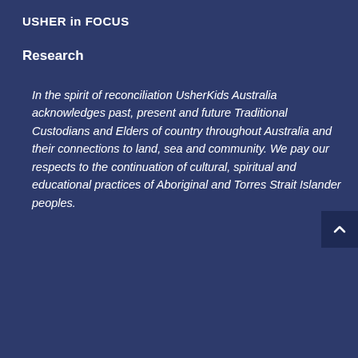USHER in FOCUS
Research
In the spirit of reconciliation UsherKids Australia acknowledges past, present and future Traditional Custodians and Elders of country throughout Australia and their connections to land, sea and community. We pay our respects to the continuation of cultural, spiritual and educational practices of Aboriginal and Torres Strait Islander peoples.